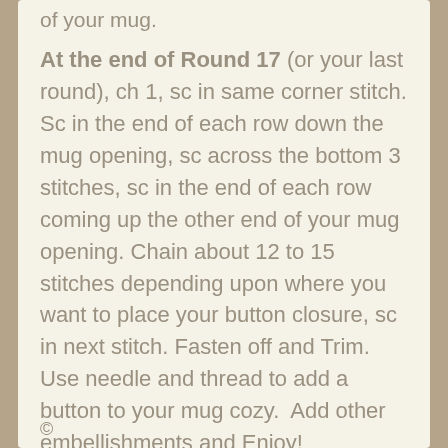of your mug.
At the end of Round 17 (or your last round), ch 1, sc in same corner stitch. Sc in the end of each row down the mug opening, sc across the bottom 3 stitches, sc in the end of each row coming up the other end of your mug opening. Chain about 12 to 15 stitches depending upon where you want to place your button closure, sc in next stitch. Fasten off and Trim. Use needle and thread to add a button to your mug cozy.  Add other embellishments and Enjoy!